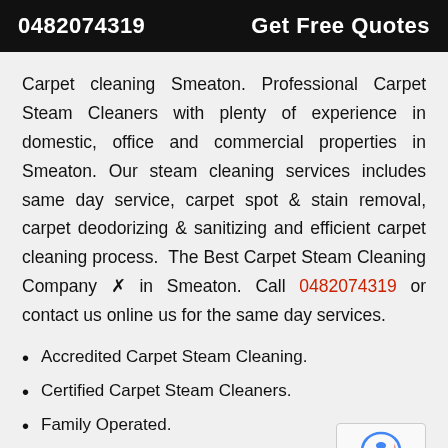0482074319   Get Free Quotes
Carpet cleaning Smeaton. Professional Carpet Steam Cleaners with plenty of experience in domestic, office and commercial properties in Smeaton. Our steam cleaning services includes same day service, carpet spot & stain removal, carpet deodorizing & sanitizing and efficient carpet cleaning process. The Best Carpet Steam Cleaning Company ✿ in Smeaton. Call 0482074319 or contact us online us for the same day services.
Accredited Carpet Steam Cleaning.
Certified Carpet Steam Cleaners.
Family Operated.
Over 10 Years Experience in Steam Cleaning.